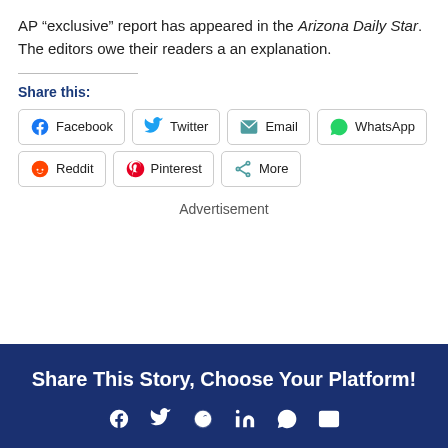AP “exclusive” report has appeared in the Arizona Daily Star. The editors owe their readers a an explanation.
Share this:
Facebook  Twitter  Email  WhatsApp  Reddit  Pinterest  More
Advertisement
Share This Story, Choose Your Platform!